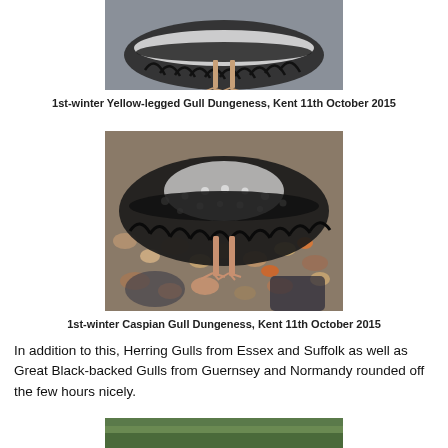[Figure (photo): Close-up photo of 1st-winter Yellow-legged Gull from below showing spread tail feathers and legs, against grey background, Dungeness, Kent]
1st-winter Yellow-legged Gull Dungeness, Kent 11th October 2015
[Figure (photo): Close-up photo of 1st-winter Caspian Gull from behind showing spread tail feathers and legs, standing on pebble beach, Dungeness, Kent]
1st-winter Caspian Gull Dungeness, Kent 11th October 2015
In addition to this, Herring Gulls from Essex and Suffolk as well as Great Black-backed Gulls from Guernsey and Normandy rounded off the few hours nicely.
[Figure (photo): Partial photo of another bird, partially visible at bottom of page]